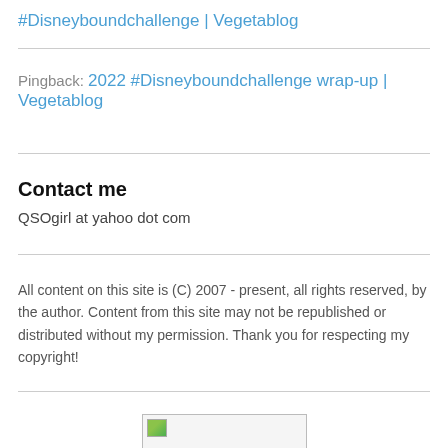#Disneyboundchallenge | Vegetablog
Pingback: 2022 #Disneyboundchallenge wrap-up | Vegetablog
Contact me
QSOgirl at yahoo dot com
All content on this site is (C) 2007 - present, all rights reserved, by the author. Content from this site may not be republished or distributed without my permission. Thank you for respecting my copyright!
[Figure (other): Broken image placeholder]